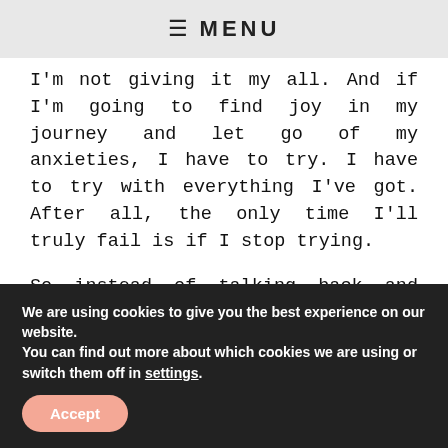≡ MENU
I'm not giving it my all. And if I'm going to find joy in my journey and let go of my anxieties, I have to try. I have to try with everything I've got. After all, the only time I'll truly fail is if I stop trying.
So instead of talking back and forth about finding a part time job or spending half my day in bed, watching Netflix, I'm going to
We are using cookies to give you the best experience on our website.
You can find out more about which cookies we are using or switch them off in settings.
Accept